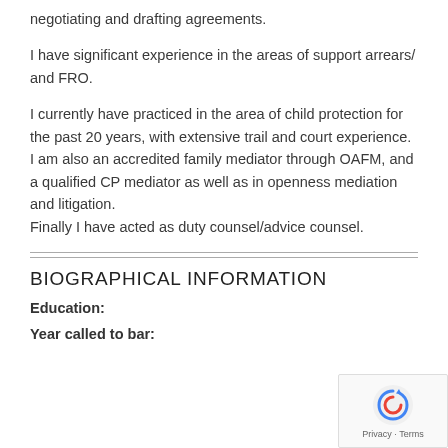negotiating and drafting agreements.
I have significant experience in the areas of support arrears/ and FRO.
I currently have practiced in the area of child protection for the past 20 years, with extensive trail and court experience.
I am also an accredited family mediator through OAFM, and a qualified CP mediator as well as in openness mediation and litigation.
Finally I have acted as duty counsel/advice counsel.
BIOGRAPHICAL INFORMATION
Education:
Year called to bar: